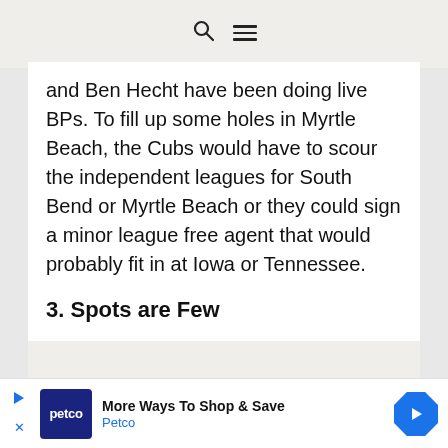🔍 ≡
and Ben Hecht have been doing live BPs. To fill up some holes in Myrtle Beach, the Cubs would have to scour the independent leagues for South Bend or Myrtle Beach or they could sign a minor league free agent that would probably fit in at Iowa or Tennessee.
3. Spots are Few
[Figure (other): Advertisement banner for Petco: 'More Ways To Shop & Save' with Petco logo and a blue diamond arrow navigation icon]